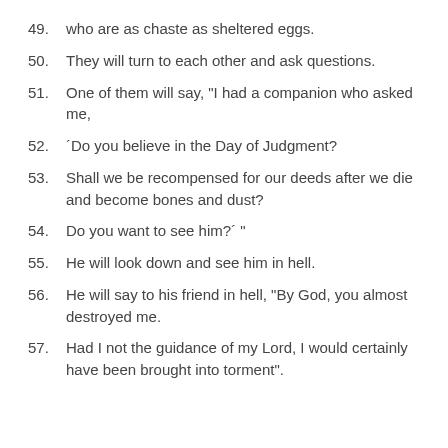49. who are as chaste as sheltered eggs.
50. They will turn to each other and ask questions.
51. One of them will say, "I had a companion who asked me,
52. ´Do you believe in the Day of Judgment?
53. Shall we be recompensed for our deeds after we die and become bones and dust?
54. Do you want to see him?´ "
55. He will look down and see him in hell.
56. He will say to his friend in hell, "By God, you almost destroyed me.
57. Had I not the guidance of my Lord, I would certainly have been brought into torment".